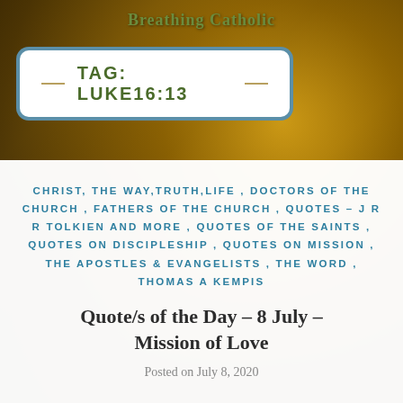Breathing Catholic
TAG: LUKE16:13
CHRIST, THE WAY,TRUTH,LIFE, DOCTORS OF THE CHURCH, FATHERS OF THE CHURCH, QUOTES – J R R TOLKIEN AND MORE, QUOTES OF THE SAINTS, QUOTES ON DISCIPLESHIP, QUOTES ON MISSION, THE APOSTLES & EVANGELISTS, THE WORD, THOMAS A KEMPIS
Quote/s of the Day – 8 July – Mission of Love
Posted on July 8, 2020